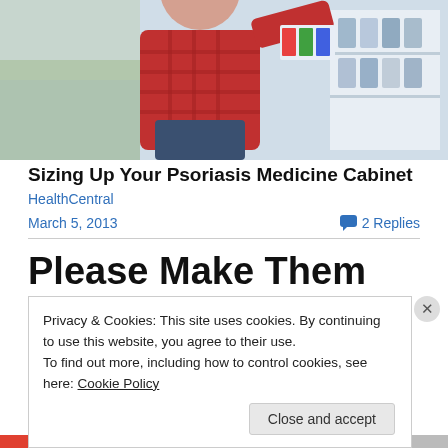[Figure (photo): Person in red plaid shirt reaching for items on a pharmacy/store shelf, with colorful products visible in background]
Sizing Up Your Psoriasis Medicine Cabinet
HealthCentral
March 5, 2013
2 Replies
Please Make Them Go Away!!
Tomorrow is the day — like a wedding, can't wait for it to
Privacy & Cookies: This site uses cookies. By continuing to use this website, you agree to their use.
To find out more, including how to control cookies, see here: Cookie Policy
Close and accept